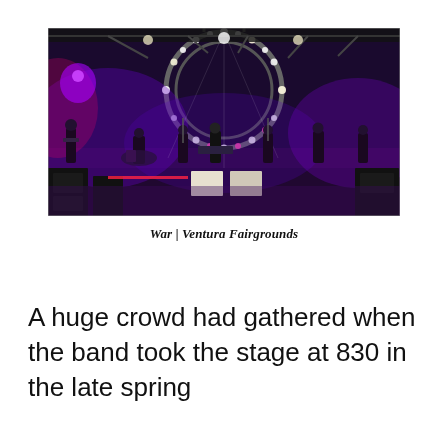[Figure (photo): Concert photo of a band performing on stage at Ventura Fairgrounds. The stage is lit with purple and white lights arranged in a circular truss overhead. Multiple musicians are visible on stage including a guitarist on the left, a drummer in the center, and other performers. The scene has a dramatic dark background with colorful stage lighting.]
War | Ventura Fairgrounds
A huge crowd had gathered when the band took the stage at 830 in the late spring